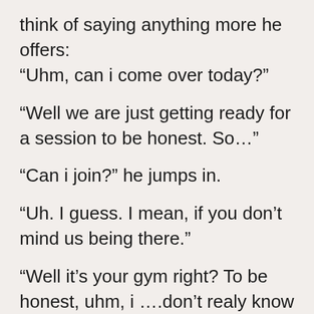think of saying anything more he offers: “Uhm, can i come over today?”
“Well we are just getting ready for a session to be honest. So…”
“Can i join?” he jumps in.
“Uh. I guess. I mean, if you don’t mind us being there.”
“Well it’s your gym right? To be honest, uhm, i ….don’t realy know much about